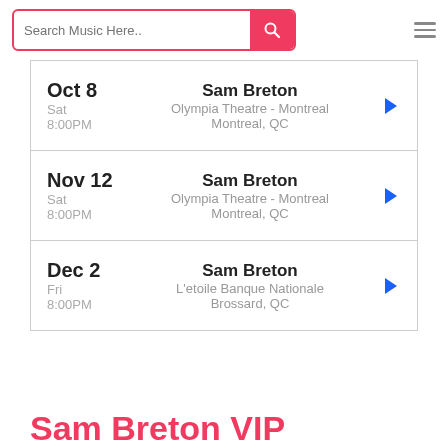Search Music Here..
Oct 8 | Sat | 8:00PM | Sam Breton | Olympia Theatre - Montreal | Montreal, QC
Nov 12 | Sat | 8:00PM | Sam Breton | Olympia Theatre - Montreal | Montreal, QC
Dec 2 | Fri | 8:00PM | Sam Breton | L'etoile Banque Nationale | Brossard, QC
Sam Breton VIP